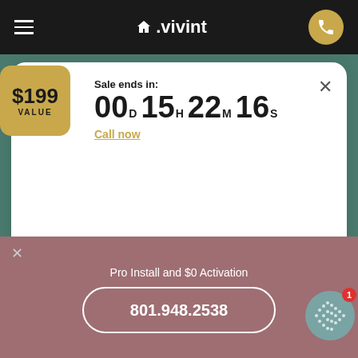vivint
Sale ends in: 00D 15H 22M 16S
Call now
$199 VALUE
Next →
SAVE TIME, CALL NOW
801.948.2538
Pro Install and $0 Activation
801.948.2538